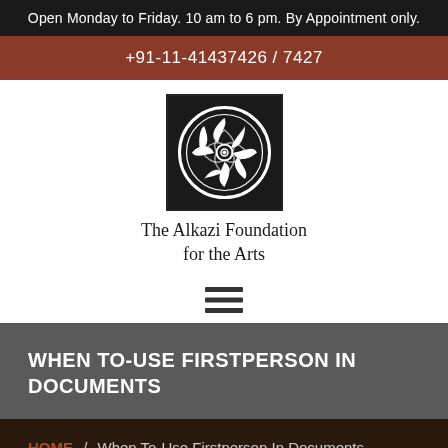Open Monday to Friday. 10 am to 6 pm. By Appointment only.
+91-11-41437426 / 7427
[Figure (logo): The Alkazi Foundation for the Arts logo: circular floral/foliate ornament in white on black square background with a thin border]
The Alkazi Foundation for the Arts
[Figure (other): Hamburger menu icon: three horizontal black lines]
WHEN TO-USE FIRSTPERSON IN DOCUMENTS
HOME / When To-Use Firstperson In Documents